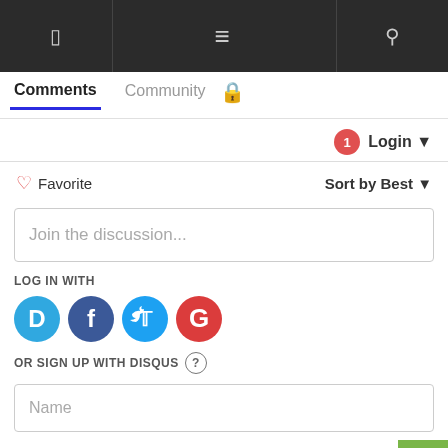Navigation bar with menu icon
Comments | Community
Login
♡ Favorite  Sort by Best
Join the discussion...
LOG IN WITH
[Figure (infographic): Social login icons: Disqus (D), Facebook (F), Twitter bird, Google (G)]
OR SIGN UP WITH DISQUS ⓘ
Name
Mark
8 years ago
Bicycle commuting is challenging. I did it for